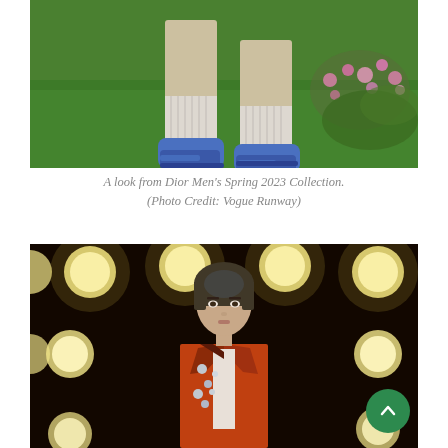[Figure (photo): Close-up of a male model's legs and feet on grass, wearing patterned socks and blue sneakers, with flowers visible on the right side. Dior Men's Spring 2023 Collection runway photo.]
A look from Dior Men's Spring 2023 Collection. (Photo Credit: Vogue Runway)
[Figure (photo): A model on a runway with stage lights in the background, wearing a red/orange blazer with silver embellishments and a white shirt underneath. Fashion show photograph.]